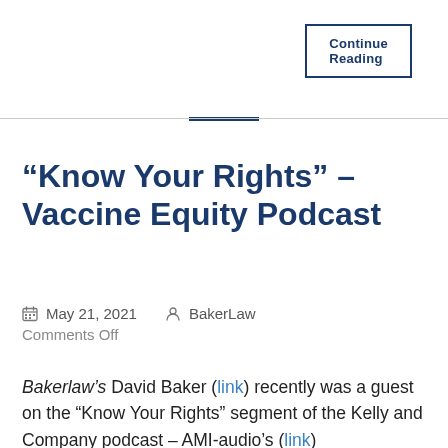Continue Reading
“Know Your Rights” – Vaccine Equity Podcast
May 21, 2021   BakerLaw   Comments Off
Bakerlaw’s David Baker (link) recently was a guest on the “Know Your Rights” segment of the Kelly and Company podcast – AMI-audio’s (link)